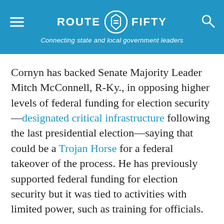ROUTE FIFTY — Connecting state and local government leaders
Cornyn has backed Senate Majority Leader Mitch McConnell, R-Ky., in opposing higher levels of federal funding for election security—designated critical infrastructure following the last presidential election—saying that could be a Trojan Horse for a federal takeover of the process. He has previously supported federal funding for election security but it was tied to activities with limited power, such as training for officials.
“The National Guard fights to protect Americans